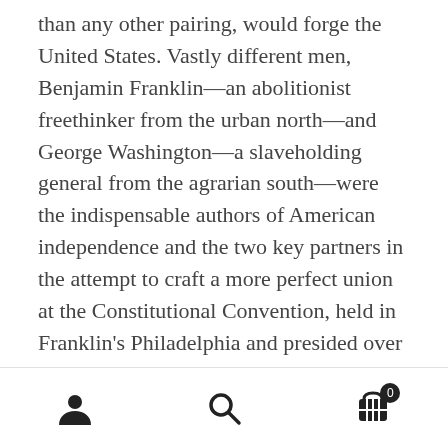than any other pairing, would forge the United States. Vastly different men, Benjamin Franklin—an abolitionist freethinker from the urban north—and George Washington—a slaveholding general from the agrarian south—were the indispensable authors of American independence and the two key partners in the attempt to craft a more perfect union at the Constitutional Convention, held in Franklin's Philadelphia and presided over by Washington. And yet their teamwork has been little remarked upon in the centuries since.
Illuminating Franklin and Washington's relationship with striking new detail and energy, Pulitzer Prize–winning historian Edward J. Larson
[navigation icons: user, search, cart(0)]